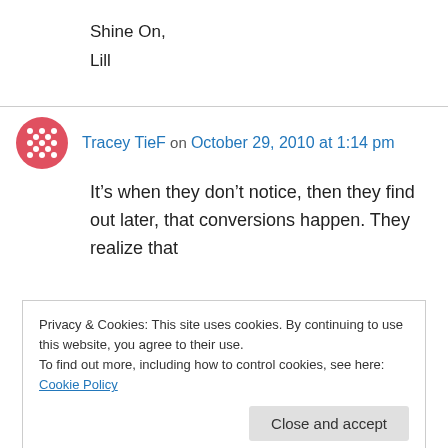Shine On,
Lill
Tracey TieF on October 29, 2010 at 1:14 pm
It’s when they don’t notice, then they find out later, that conversions happen. They realize that
Privacy & Cookies: This site uses cookies. By continuing to use this website, you agree to their use.
To find out more, including how to control cookies, see here: Cookie Policy
Close and accept
Congratulations!